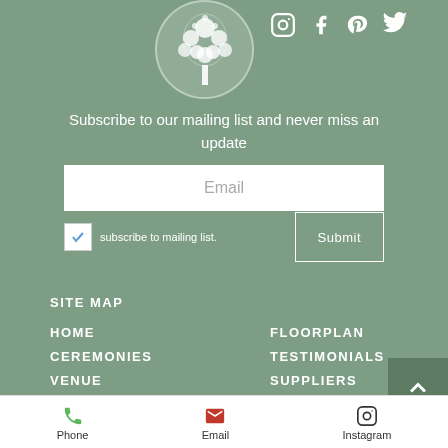[Figure (logo): White tree logo in circle on sage green background]
[Figure (illustration): Social media icons: Instagram, Facebook, Pinterest, Twitter in white]
Subscribe to our mailing list and never miss an update
Email
subscribe to mailing list.
Submit
SITE MAP
HOME
CEREMONIES
VENUE
HOLLY LODGE
FLOORPLAN
TESTIMONIALS
SUPPLIERS
BLOG
Phone | Email | Instagram